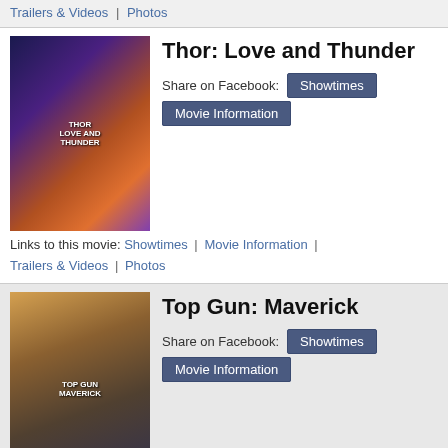Trailers & Videos | Photos
Thor: Love and Thunder
Share on Facebook: Showtimes
Movie Information
Links to this movie: Showtimes | Movie Information | Trailers & Videos | Photos
Top Gun: Maverick
Share on Facebook: Showtimes
Movie Information
Links to this movie: Showtimes | Movie Information | Trailers & Videos | Photos
Where the Crawdads Sing
Share on Facebook: Showtimes
Movie Information